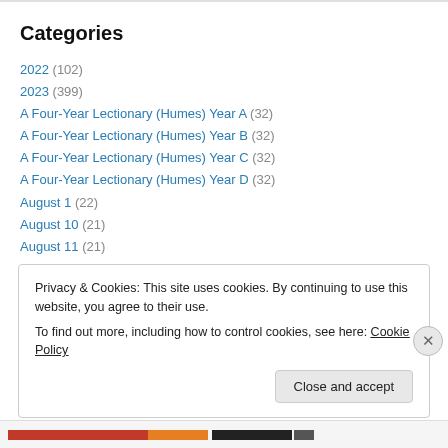Categories
2022 (102)
2023 (399)
A Four-Year Lectionary (Humes) Year A (32)
A Four-Year Lectionary (Humes) Year B (32)
A Four-Year Lectionary (Humes) Year C (32)
A Four-Year Lectionary (Humes) Year D (32)
August 1 (22)
August 10 (21)
August 11 (21)
August 12 (21)
Privacy & Cookies: This site uses cookies. By continuing to use this website, you agree to their use.
To find out more, including how to control cookies, see here: Cookie Policy